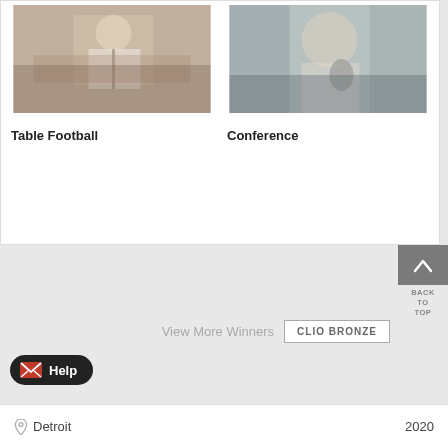[Figure (photo): Photo of people playing table football]
Table Football
[Figure (photo): Photo of a man at a conference with a microphone]
Conference
View More Winners
CLIO BRONZE
BACK TO TOP
Help
Detroit   2020